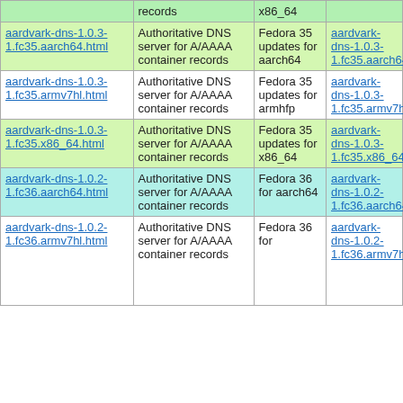| Package | Description | Repo | Download |
| --- | --- | --- | --- |
| aardvark-dns-1.0.3-1.fc35.aarch64.html | Authoritative DNS server for A/AAAA container records | Fedora 35 updates for aarch64 | aardvark-dns-1.0.3-1.fc35.aarch64.rpm |
| aardvark-dns-1.0.3-1.fc35.armv7hl.html | Authoritative DNS server for A/AAAA container records | Fedora 35 updates for armhfp | aardvark-dns-1.0.3-1.fc35.armv7hl.rpm |
| aardvark-dns-1.0.3-1.fc35.x86_64.html | Authoritative DNS server for A/AAAA container records | Fedora 35 updates for x86_64 | aardvark-dns-1.0.3-1.fc35.x86_64.rpm |
| aardvark-dns-1.0.2-1.fc36.aarch64.html | Authoritative DNS server for A/AAAA container records | Fedora 36 for aarch64 | aardvark-dns-1.0.2-1.fc36.aarch64.rpm |
| aardvark-dns-1.0.2-1.fc36.armv7hl.html | Authoritative DNS server for A/AAAA container records | Fedora 36 for ... | aardvark-dns-1.0.2-1.fc36.armv7hl.rpm |